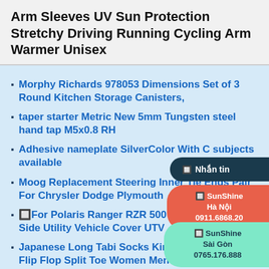Arm Sleeves UV Sun Protection Stretchy Driving Running Cycling Arm Warmer Unisex
Morphy Richards 978053 Dimensions Set of 3 Round Kitchen Storage Canisters,
taper starter Metric New 5mm Tungsten steel hand tap M5x0.8 RH
Adhesive nameplate SilverColor With C subjects available
Moog Replacement Steering Inner Tie Ends Pair For Chrysler Dodge Plymouth
🔲For Polaris Ranger RZR 500 570 80 Side-by-Side Utility Vehicle Cover UTV
Japanese Long Tabi Socks Kimono Geta Clog Flip Flop Split Toe Women Men
4PCS 2mm x 6mm x 200mm HSS Tool Cutoff